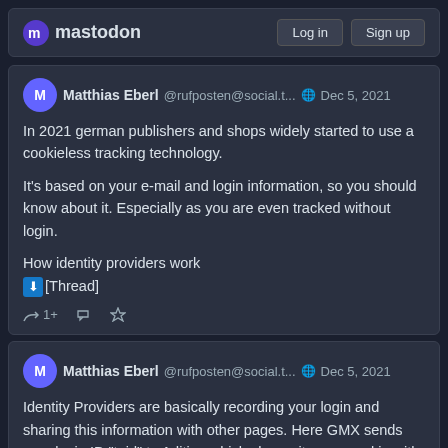mastodon  Log in  Sign up
Matthias Eberl @rufposten@social.t... Dec 5, 2021
In 2021 german publishers and shops widely started to use a cookieless tracking technology.

It's based on your e-mail and login information, so you should know about it. Especially as you are even tracked without login.

How identity providers work
⬇[Thread]
Matthias Eberl @rufposten@social.t... Dec 5, 2021
Identity Providers are basically recording your login and sharing this information with other pages. Here GMX sends your login ID "tpid" to Adition which shares its own cookie with several